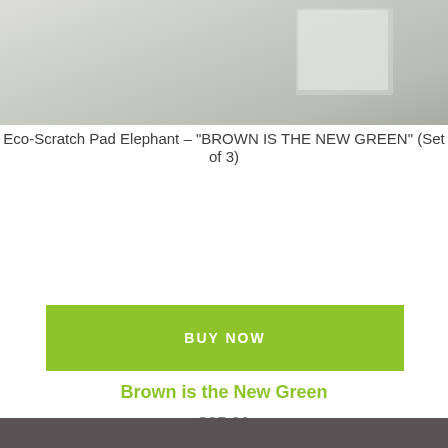[Figure (photo): Product photo of Eco-Scratch Pad Elephant set on a light gray/marble background, partially cropped at top of page]
Eco-Scratch Pad Elephant – "BROWN IS THE NEW GREEN" (Set of 3)
BUY NOW
Brown is the New Green
$25.00